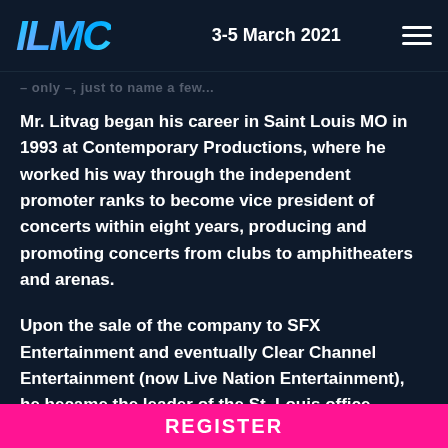ILMC  3-5 March 2021
– only –, just to name a few...
Mr. Litvag began his career in Saint Louis MO in 1993 at Contemporary Productions, where he worked his way through the independent promoter ranks to become vice president of concerts within eight years, producing and promoting concerts from clubs to amphitheaters and arenas.
Upon the sale of the company to SFX Entertainment and eventually Clear Channel Entertainment (now Live Nation Entertainment), he became the leader of the St. Louis office
REGISTER